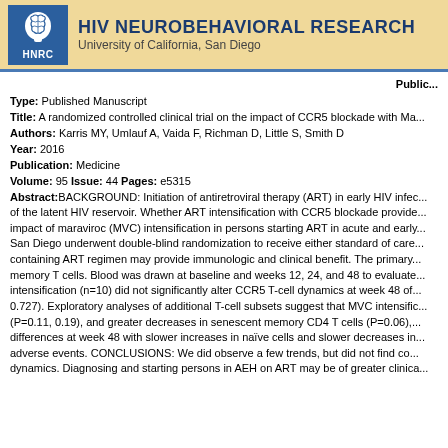[Figure (logo): HIV Neurobehavioral Research Center (HNRC) logo with brain icon and University of California San Diego text on a tan/gold banner]
Publication
Type: Published Manuscript
Title: A randomized controlled clinical trial on the impact of CCR5 blockade with Ma...
Authors: Karris MY, Umlauf A, Vaida F, Richman D, Little S, Smith D
Year: 2016
Publication: Medicine
Volume: 95 Issue: 44 Pages: e5315
Abstract:BACKGROUND: Initiation of antiretroviral therapy (ART) in early HIV infection may limit the size of the latent HIV reservoir. Whether ART intensification with CCR5 blockade provides additional benefit is unknown. We studied the impact of maraviroc (MVC) intensification in persons starting ART in acute and early HIV (AEH) infection. Methods: 20 individuals in San Diego underwent double-blind randomization to receive either standard of care ART or MVC-containing ART. We hypothesized that a MVC containing ART regimen may provide immunologic and clinical benefit. The primary endpoint was the frequency of CCR5+ central and transitional memory T cells. Blood was drawn at baseline and weeks 12, 24, and 48 to evaluate T-cell subsets. RESULTS: MVC intensification (n=10) did not significantly alter CCR5 T-cell dynamics at week 48 of ART as compared to the control arm (n=10, all P>0.727). Exploratory analyses of additional T-cell subsets suggest that MVC intensification may be associated with lower activated CD8 T cells (P=0.11, 0.19), and greater decreases in senescent memory CD4 T cells (P=0.06), compared to the control arm. The control arm showed differences at week 48 with slower increases in naïve cells and slower decreases in certain activated T cells. MVC was well tolerated with no adverse events. CONCLUSIONS: We did observe a few trends, but did not find conclusive evidence that MVC alters early HIV reservoir or T-cell dynamics. Diagnosing and starting persons in AEH on ART may be of greater clinical relevance than ART intensification.